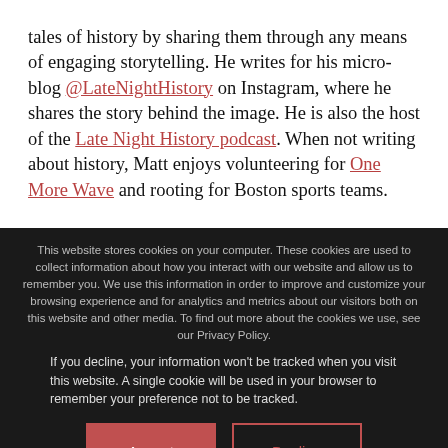tales of history by sharing them through any means of engaging storytelling. He writes for his micro-blog @LateNightHistory on Instagram, where he shares the story behind the image. He is also the host of the Late Night History podcast. When not writing about history, Matt enjoys volunteering for One More Wave and rooting for Boston sports teams.
This website stores cookies on your computer. These cookies are used to collect information about how you interact with our website and allow us to remember you. We use this information in order to improve and customize your browsing experience and for analytics and metrics about our visitors both on this website and other media. To find out more about the cookies we use, see our Privacy Policy.
If you decline, your information won't be tracked when you visit this website. A single cookie will be used in your browser to remember your preference not to be tracked.
Accept | Decline